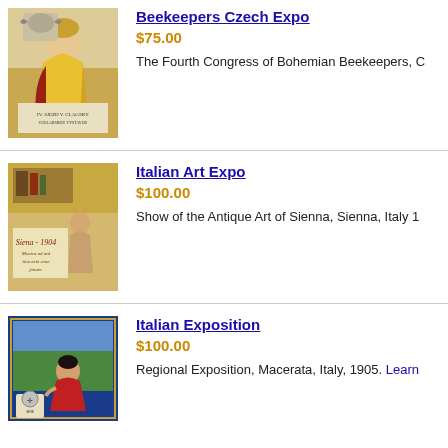[Figure (illustration): Vintage poster of Beekeepers Czech Expo showing a woman in traditional dress with ornate decorations and Czech text]
Beekeepers Czech Expo
$75.00
The Fourth Congress of Bohemian Beekeepers, C
[Figure (illustration): Vintage Italian Art Expo poster showing Siena 1904 with a kneeling figure and artistic decorations]
Italian Art Expo
$100.00
Show of the Antique Art of Sienna, Sienna, Italy 1
[Figure (illustration): Vintage Italian Exposition poster showing a woman in red dress with regional decorations and coat of arms]
Italian Exposition
$100.00
Regional Exposition, Macerata, Italy, 1905. Learn